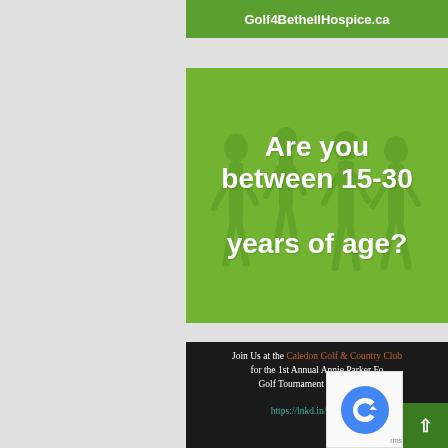Golf4BethellHospice.ca
[Figure (infographic): Green-tinted image with silhouettes of people, overlaid with large white bold text reading 'Are you between 15-30 years of age?']
Join Us at the Caledon Golf & Country Club for the 1st Annual Annie Parker Foundation Golf Tournament on September... https://lnkd.in/g5Seufwr